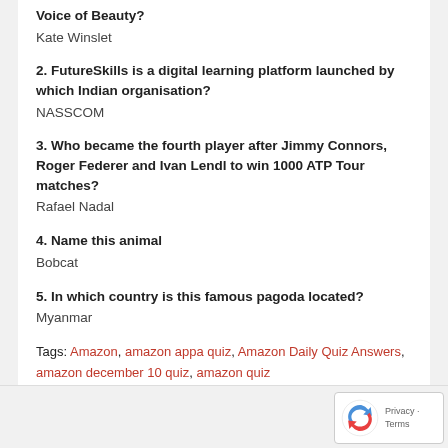Kate Winslet
2. FutureSkills is a digital learning platform launched by which Indian organisation?
NASSCOM
3. Who became the fourth player after Jimmy Connors, Roger Federer and Ivan Lendl to win 1000 ATP Tour matches?
Rafael Nadal
4. Name this animal
Bobcat
5. In which country is this famous pagoda located?
Myanmar
Tags: Amazon, amazon appa quiz, Amazon Daily Quiz Answers, amazon december 10 quiz, amazon quiz